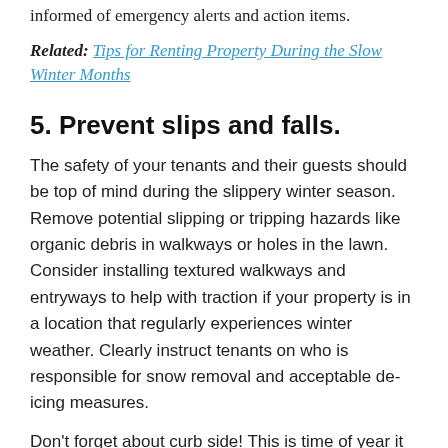informed of emergency alerts and action items.
Related: Tips for Renting Property During the Slow Winter Months
5. Prevent slips and falls.
The safety of your tenants and their guests should be top of mind during the slippery winter season. Remove potential slipping or tripping hazards like organic debris in walkways or holes in the lawn. Consider installing textured walkways and entryways to help with traction if your property is in a location that regularly experiences winter weather. Clearly instruct tenants on who is responsible for snow removal and acceptable de-icing measures.
Don't forget about curb side! This is time of year it is